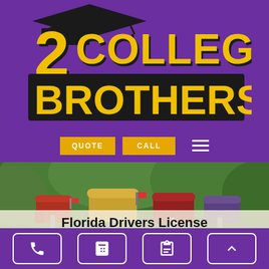[Figure (logo): 2 College Brothers logo with graduation cap on purple background, yellow and white text]
[Figure (other): Navigation bar with QUOTE and CALL yellow buttons and hamburger menu icon on purple background]
[Figure (photo): Photo of colorful mailboxes with green foliage in background]
Florida Drivers License Change of Address
[Figure (other): Bottom icon bar on purple background with phone, calculator, clipboard, and up-arrow icons in white rounded square buttons]